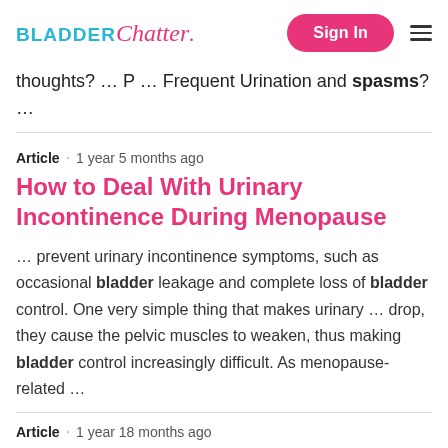BLADDER Chatter. Sign In
thoughts? … P … Frequent Urination and spasms? …
Article · 1 year 5 months ago
How to Deal With Urinary Incontinence During Menopause
… prevent urinary incontinence symptoms, such as occasional bladder leakage and complete loss of bladder control. One very simple thing that makes urinary … drop, they cause the pelvic muscles to weaken, thus making bladder control increasingly difficult. As menopause-related …
Article  · 1 year 18 months ago